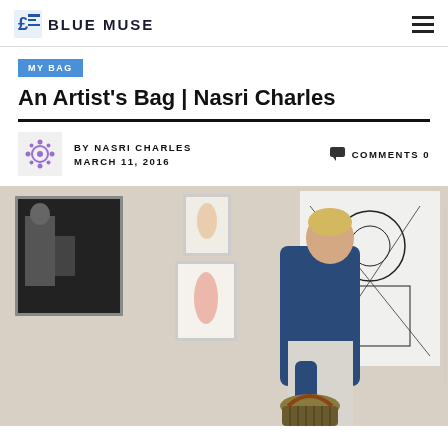BLUE MUSE
MY BAG
An Artist's Bag | Nasri Charles
BY NASRI CHARLES  MARCH 11, 2016  COMMENTS 0
[Figure (photo): A person with short blonde hair wearing a blue satin jacket and white pants, holding a woven basket bag, standing in front of gallery artwork on a white wall.]